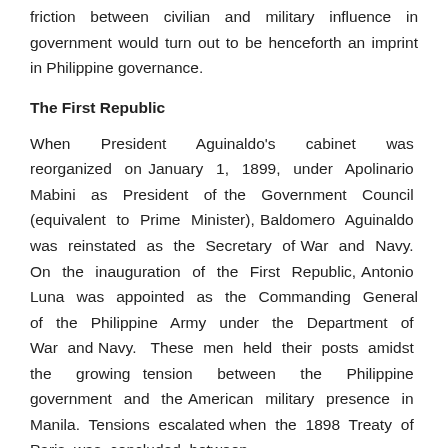friction between civilian and military influence in government would turn out to be henceforth an imprint in Philippine governance.
The First Republic
When President Aguinaldo’s cabinet was reorganized on January 1, 1899, under Apolinario Mabini as President of the Government Council (equivalent to Prime Minister), Baldomero Aguinaldo was reinstated as the Secretary of War and Navy. On the inauguration of the First Republic, Antonio Luna was appointed as the Commanding General of the Philippine Army under the Department of War and Navy. These men held their posts amidst the growing tension between the Philippine government and the American military presence in Manila. Tensions escalated when the 1898 Treaty of Paris was concluded between